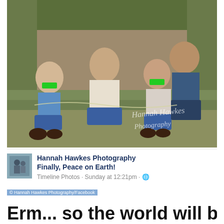[Figure (photo): Family photo outdoors on grass. Group of people sitting together, two children with green tape over their mouths, bound with what appears to be Christmas lights/garland. Watermark reads 'Hannah Hawkes Photography' in cursive script.]
[Figure (screenshot): Facebook post screenshot showing Hannah Hawkes Photography page post captioned 'Finally, Peace on Earth!' with timeline photos metadata 'Sunday at 12:21pm'. Small profile avatar thumbnail on left.]
Erm... so the world will be a